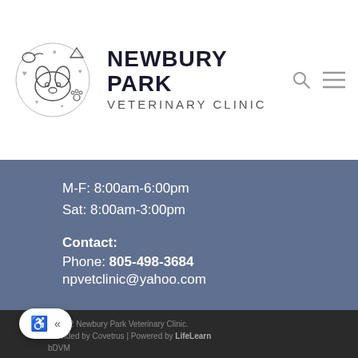[Figure (logo): Newbury Park Veterinary Clinic logo with illustrated animals (cat, dog, bird, fish) surrounded by hearts and paws]
NEWBURY PARK VETERINARY CLINIC
M-F: 8:00am-6:00pm
Sat: 8:00am-3:00pm
Contact:
Phone: 805-498-3684
npvetclinic@yahoo.com
© 2022 Newbury Park Veterinary Clinic.
Provided by Covetrus | Powered by LifeLearn
bDVM